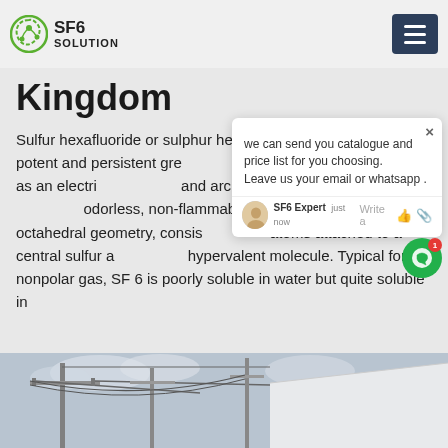SF6 SOLUTION
Kingdom
Sulfur hexafluoride or sulphur hexafluoride is an extremely potent and persistent greenhouse gas that is primarily utilized as an electrical insulator and arc suppressant. It is inorganic, colorless, odorless, non-flammable, and non-toxic. SF6 has an octahedral geometry, consisting of six fluorine atoms attached to a central sulfur atom. It is a hypervalent molecule. Typical for a nonpolar gas, SF6 is poorly soluble in water but quite soluble in
[Figure (screenshot): Chat popup widget showing message: 'we can send you catalogue and price list for you choosing. Leave us your email or whatsapp.' with SF6 Expert agent avatar and just now timestamp]
[Figure (photo): Photograph of electrical transmission tower/railway catenary infrastructure against a cloudy sky, with white building roof visible on the right]